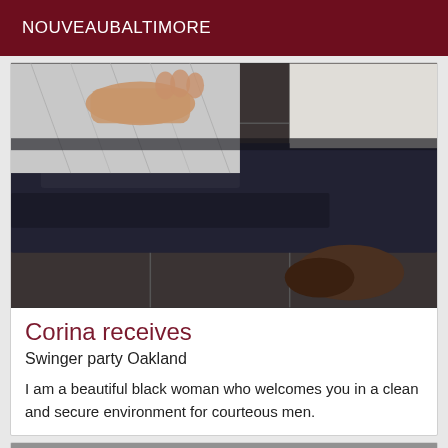NOUVEAUBALTIMORE
[Figure (photo): Close-up photo showing dark jeans/pants on a tiled floor with a hand visible on fabric/bedding in the upper left]
Corina receives
Swinger party Oakland
I am a beautiful black woman who welcomes you in a clean and secure environment for courteous men.
[Figure (photo): Partial photo at the bottom of the page, cropped]